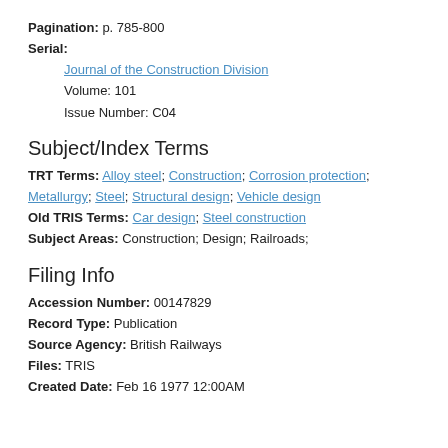Pagination: p. 785-800
Serial:
Journal of the Construction Division
Volume: 101
Issue Number: C04
Subject/Index Terms
TRT Terms: Alloy steel; Construction; Corrosion protection; Metallurgy; Steel; Structural design; Vehicle design
Old TRIS Terms: Car design; Steel construction
Subject Areas: Construction; Design; Railroads;
Filing Info
Accession Number: 00147829
Record Type: Publication
Source Agency: British Railways
Files: TRIS
Created Date: Feb 16 1977 12:00AM